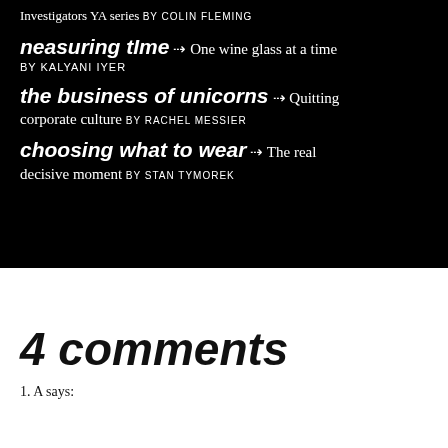Investigators YA series BY COLIN FLEMING
measuring time → One wine glass at a time BY KALYANI IYER
the business of unicorns → Quitting corporate culture BY RACHEL MESSIER
choosing what to wear → The real decisive moment BY STAN TYMOREK
4 comments
1. A says: